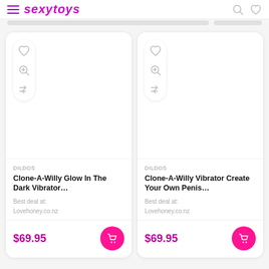sexytoys
[Figure (screenshot): Product card: Clone-A-Willy Glow In The Dark Vibrator, DILDOS category, Best deal at: Lovehoney.co.nz, $69.95]
[Figure (screenshot): Product card: Clone-A-Willy Vibrator Create Your Own Penis, DILDOS category, Best deal at: Lovehoney.co.nz, $69.95]